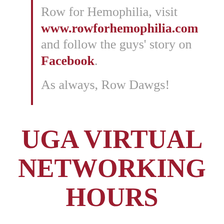Row for Hemophilia, visit www.rowforhemophilia.com and follow the guys' story on Facebook. As always, Row Dawgs!
UGA VIRTUAL NETWORKING HOURS